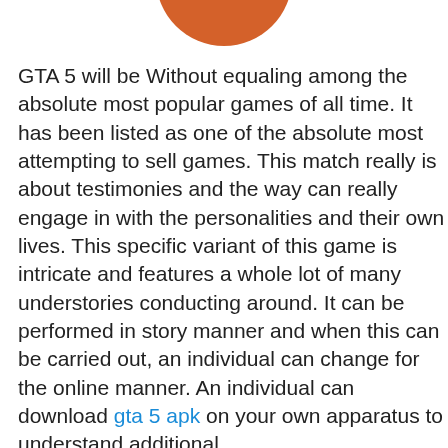[Figure (illustration): Partial orange/brown circular logo or icon visible at the top center of the page, cropped at the top edge.]
GTA 5 will be Without equaling among the absolute most popular games of all time. It has been listed as one of the absolute most attempting to sell games. This match really is about testimonies and the way can really engage in with the personalities and their own lives. This specific variant of this game is intricate and features a whole lot of many understories conducting around. It can be performed in story manner and when this can be carried out, an individual can change for the online manner. An individual can download gta 5 apk on your own apparatus to understand additional.
Story style and online mode
The narrative Mode is about fifty hours which is quite long as compared to other game